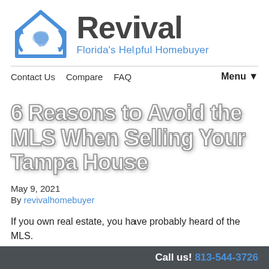[Figure (logo): Revival Florida Helpful Homebuyer logo: blue house icon with Florida map outline, and 'Revival' in dark gray bold text with tagline 'Florida's Helpful Homebuyer' in blue]
Contact Us   Compare   FAQ   Menu ▼
6 Reasons to Avoid the MLS When Selling Your Tampa House
May 9, 2021
By revivalhomebuyer
If you own real estate, you have probably heard of the MLS.
Call us! 813-544-3726